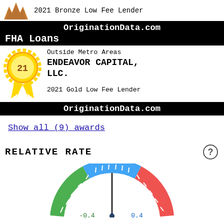[Figure (illustration): Bronze award badge (partial, top visible) with text '2021 Bronze Low Fee Lender']
OriginationData.com
FHA Loans
[Figure (illustration): Gold award ribbon/medal badge with number 21 inside]
Outside Metro Areas
ENDEAVOR CAPITAL, LLC.
2021 Gold Low Fee Lender
OriginationData.com
Show all (9) awards
RELATIVE RATE
[Figure (other): Semicircular gauge/speedometer chart showing relative rate. Green on left side, blue in center, red on right side. Labels show -0.4 on left, 0 in center, 0.4 on right.]